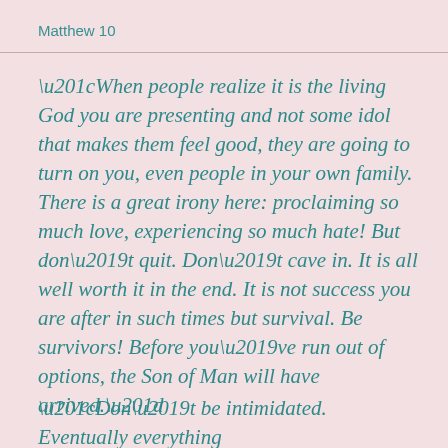Matthew 10
“When people realize it is the living God you are presenting and not some idol that makes them feel good, they are going to turn on you, even people in your own family. There is a great irony here: proclaiming so much love, experiencing so much hate! But don’t quit. Don’t cave in. It is all well worth it in the end. It is not success you are after in such times but survival. Be survivors! Before you’ve run out of options, the Son of Man will have arrived.”
“Don’t be intimidated. Eventually everything